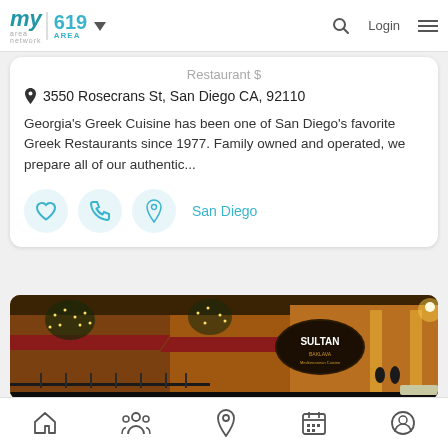my area network | 619 AREA | Login
Restaurant $
3550 Rosecrans St, San Diego CA, 92110
Georgia's Greek Cuisine has been one of San Diego's favorite Greek Restaurants since 1977. Family owned and operated, we prepare all of our authentic...
San Diego
[Figure (photo): Night photo of Sultan Baklava Mediterranean cuisine restaurant exterior with warm amber lighting, string lights on trees, red awnings, wrought iron fence, and a sign reading SULTAN BAKLAVA Mediterranean Cuisine]
Home | People | Location | Calendar | Profile